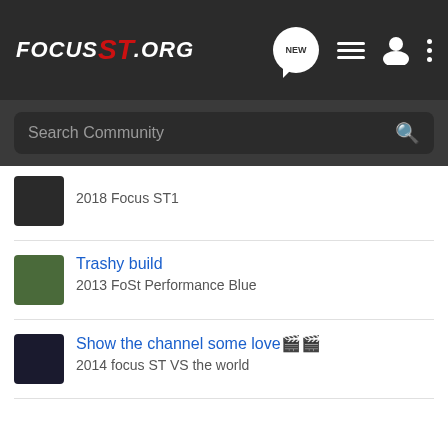FOCUS ST.ORG - navigation header with search
2018 Focus ST1
Trashy build
2013 FoSt Performance Blue
Show the channel some love🎬🎬
2014 focus ST VS the world
< Showcase
Home  About Us  Terms of Use  Privacy Policy  Help  Business Directory  Contact Us  |  Grow Your Business  NEW